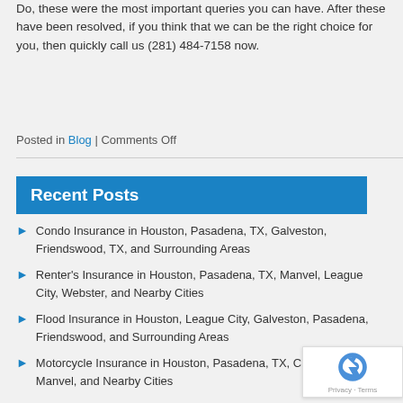Do, these were the most important queries you can have. After these have been resolved, if you think that we can be the right choice for you, then quickly call us (281) 484-7158 now.
Posted in Blog | Comments Off
Recent Posts
Condo Insurance in Houston, Pasadena, TX, Galveston, Friendswood, TX, and Surrounding Areas
Renter's Insurance in Houston, Pasadena, TX, Manvel, League City, Webster, and Nearby Cities
Flood Insurance in Houston, League City, Galveston, Pasadena, Friendswood, and Surrounding Areas
Motorcycle Insurance in Houston, Pasadena, TX, Clear Lake, Manvel, and Nearby Cities
Condo Insurance in Houston, Pasadena, TX, Galveston, Friendswood, TX, and Surrounding Areas
Life Insurance in Houston, Pasadena, TX, League City, Friendswood, TX, and Nearby Cities
Flood Insurance in Houston, Galveston, League City, Pasadena, Clear Lake, and Surrounding Areas